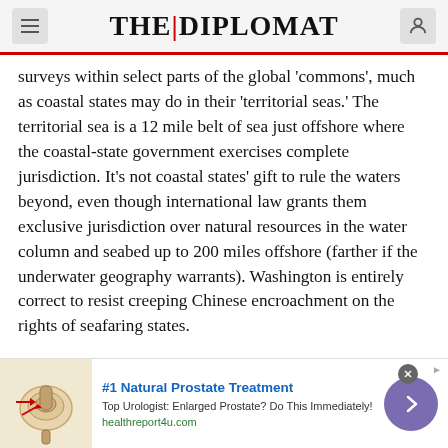THE DIPLOMAT
surveys within select parts of the global ‘commons’, much as coastal states may do in their ‘territorial seas.’ The territorial sea is a 12 mile belt of sea just offshore where the coastal-state government exercises complete jurisdiction. It’s not coastal states’ gift to rule the waters beyond, even though international law grants them exclusive jurisdiction over natural resources in the water column and seabed up to 200 miles offshore (farther if the underwater geography warrants). Washington is entirely correct to resist creeping Chinese encroachment on the rights of seafaring states.
[Figure (infographic): Advertisement banner: #1 Natural Prostate Treatment. Top Urologist: Enlarged Prostate? Do This Immediately! healthreport4u.com. Contains a medical illustration of a prostate and a purple circular arrow button.]